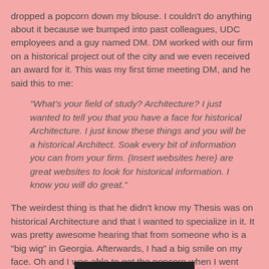dropped a popcorn down my blouse. I couldn't do anything about it because we bumped into past colleagues, UDC employees and a guy named DM. DM worked with our firm on a historical project out of the city and we even received an award for it. This was my first time meeting DM, and he said this to me:
"What's your field of study? Architecture? I just wanted to tell you that you have a face for historical Architecture. I just know these things and you will be a historical Architect. Soak every bit of information you can from your firm. {Insert websites here} are great websites to look for historical information. I know you will do great."
The weirdest thing is that he didn't know my Thesis was on historical Architecture and that I wanted to specialize in it. It was pretty awesome hearing that from someone who is a "big wig" in Georgia. Afterwards, I had a big smile on my face. Oh and I was able to get the popcorn when I went outside:
[Figure (other): Dark horizontal bar at the bottom of the page, partial image]